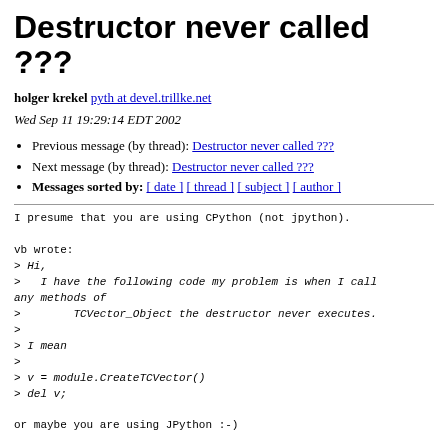Destructor never called ???
holger krekel pyth at devel.trillke.net
Wed Sep 11 19:29:14 EDT 2002
Previous message (by thread): Destructor never called ???
Next message (by thread): Destructor never called ???
Messages sorted by: [ date ] [ thread ] [ subject ] [ author ]
I presume that you are using CPython (not jpython).

vb wrote:
> Hi,
>   I have the following code my problem is when I call any methods of
>        TCVector_Object the destructor never executes.
>
> I mean
>
> v = module.CreateTCVector()
> del v;

or maybe you are using JPython :-)

> //destructor runs. message shown .OK
>